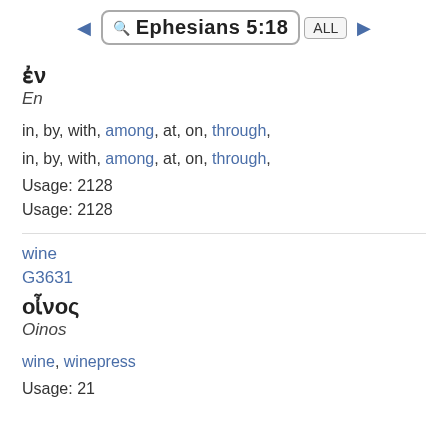Ephesians 5:18
ἐν
En
in, by, with, among, at, on, through,
in, by, with, among, at, on, through,
Usage: 2128
Usage: 2128
wine
G3631
οἶνος
Oinos
wine, winepress
Usage: 21